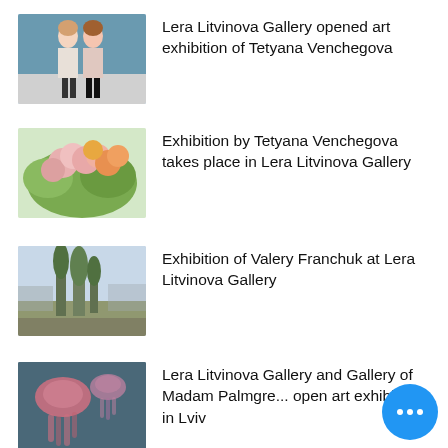[Figure (photo): Two women standing together in a gallery setting]
Lera Litvinova Gallery opened art exhibition of Tetyana Venchegova
[Figure (photo): Painting of flowers, pink and orange blooms]
Exhibition by Tetyana Venchegova takes place in Lera Litvinova Gallery
[Figure (photo): Landscape painting with tall trees]
Exhibition of Valery Franchuk at Lera Litvinova Gallery
[Figure (photo): Painting with jellyfish and pink/teal tones]
Lera Litvinova Gallery and Gallery of Madam Palmgre... open art exhibition in Lviv